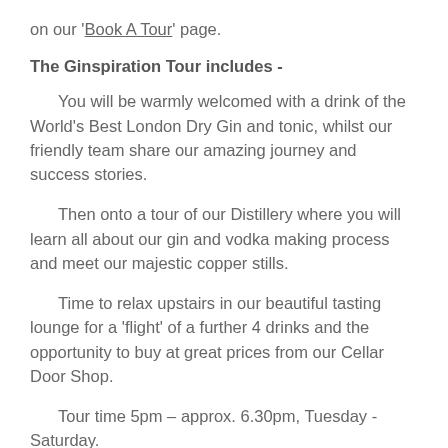on our 'Book A Tour' page.
The Ginspiration Tour includes -
You will be warmly welcomed with a drink of the World's Best London Dry Gin and tonic, whilst our friendly team share our amazing journey and success stories.
Then onto a tour of our Distillery where you will learn all about our gin and vodka making process and meet our majestic copper stills.
Time to relax upstairs in our beautiful tasting lounge for a 'flight' of a further 4 drinks and the opportunity to buy at great prices from our Cellar Door Shop.
Tour time 5pm – approx. 6.30pm, Tuesday - Saturday.
Tickets cost £25 per person.